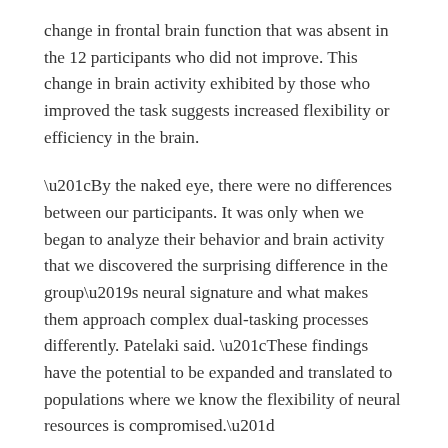change in frontal brain function that was absent in the 12 participants who did not improve. This change in brain activity exhibited by those who improved the task suggests increased flexibility or efficiency in the brain.
“By the naked eye, there were no differences between our participants. It was only when we began to analyze their behavior and brain activity that we discovered the surprising difference in the group’s neural signature and what makes them approach complex dual-tasking processes differently. Patelaki said. “These findings have the potential to be expanded and translated to populations where we know the flexibility of neural resources is compromised.”
Edward Freedman, Ph.D., an associate professor of Neuroscience at the Del Monte Institute, led this research that continues to expand how the MoBI helps neuroscientists